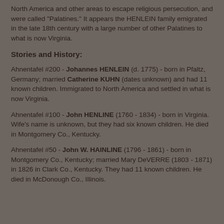North America and other areas to escape religious persecution, and were called "Palatines." It appears the HENLEIN family emigrated in the late 18th century with a large number of other Palatines to what is now Virginia.
Stories and History:
Ahnentafel #200 - Johannes HENLEIN (d. 1775) - born in Pfaltz, Germany; married Catherine KUHN (dates unknown) and had 11 known children. Immigrated to North America and settled in what is now Virginia.
Ahnentafel #100 - John HENLINE (1760 - 1834) - born in Virginia. Wife's name is unknown, but they had six known children. He died in Montgomery Co., Kentucky.
Ahnentafel #50 - John W. HAINLINE (1796 - 1861) - born in Montgomery Co., Kentucky; married Mary DeVERRE (1803 - 1871) in 1826 in Clark Co., Kentucky. They had 11 known children. He died in McDonough Co., Illinois.